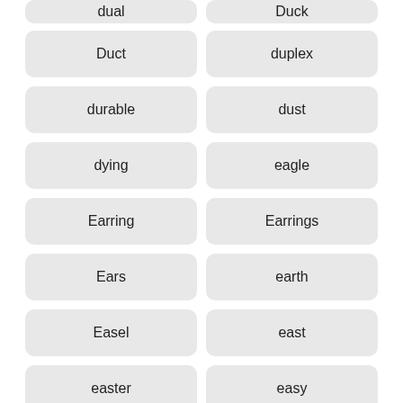dual
Duck
Duct
duplex
durable
dust
dying
eagle
Earring
Earrings
Ears
earth
Easel
east
easter
easy
Easy Crochet Baby Blanket
Easy Crochet Patterns
ebay
economical